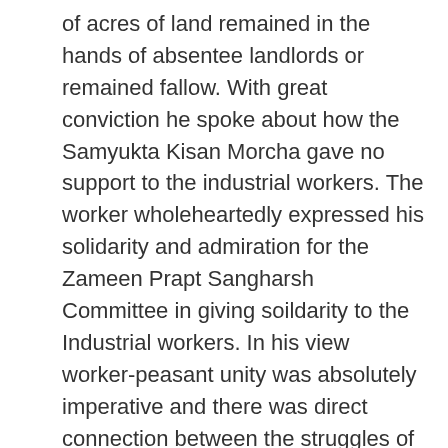of acres of land remained in the hands of absentee landlords or remained fallow. With great conviction he spoke about how the Samyukta Kisan Morcha gave no support to the industrial workers. The worker wholeheartedly expressed his solidarity and admiration for the Zameen Prapt Sangharsh Committee in giving soildarity to the Industrial workers. In his view worker-peasant unity was absolutely imperative and there was direct connection between the struggles of the farmers with the industrial workers.Many a factory worker originated from the farming community. I feel it was most positive to witness a team of workers from the Pepsi Coal factory participating. Wholeheartedly he and his team of workers pledged support to the P...